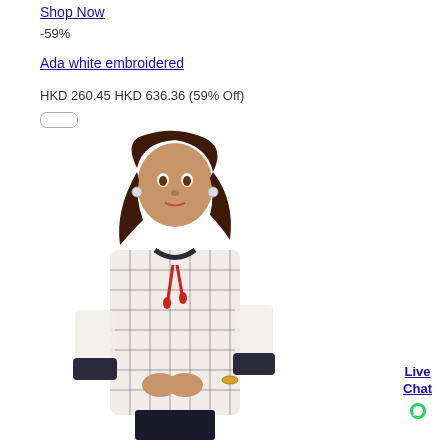Shop Now
-59%
Ada white embroidered
HKD 260.45 HKD 636.36 (59% Off)
[Figure (photo): Woman wearing a white and dark checkered embroidered tunic top with red tassel detail, rolled sleeves with dark cuffs, posing against white background]
Live Chat